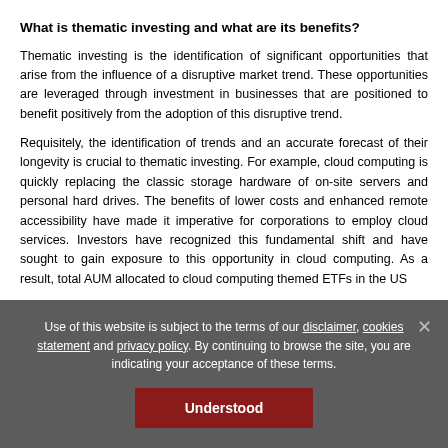What is thematic investing and what are its benefits?
Thematic investing is the identification of significant opportunities that arise from the influence of a disruptive market trend. These opportunities are leveraged through investment in businesses that are positioned to benefit positively from the adoption of this disruptive trend.
Requisitely, the identification of trends and an accurate forecast of their longevity is crucial to thematic investing. For example, cloud computing is quickly replacing the classic storage hardware of on-site servers and personal hard drives. The benefits of lower costs and enhanced remote accessibility have made it imperative for corporations to employ cloud services. Investors have recognized this fundamental shift and have sought to gain exposure to this opportunity in cloud computing. As a result, total AUM allocated to cloud computing themed ETFs in the US
Use of this website is subject to the terms of our disclaimer, cookies statement and privacy policy. By continuing to browse the site, you are indicating your acceptance of these terms.
Understood